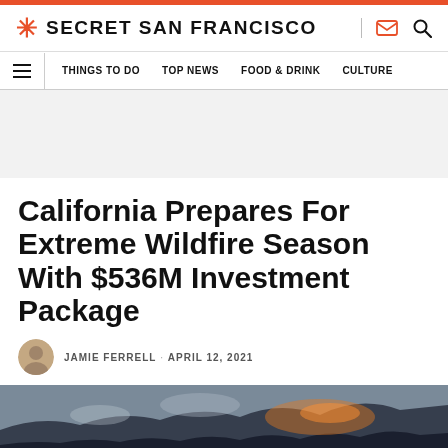SECRET SAN FRANCISCO
THINGS TO DO · TOP NEWS · FOOD & DRINK · CULTURE
[Figure (other): Gray advertisement banner placeholder area]
California Prepares For Extreme Wildfire Season With $536M Investment Package
JAMIE FERRELL · APRIL 12, 2021
[Figure (photo): Hero image showing a wildfire or smoke-filled mountain/forest landscape in dark atmospheric tones]